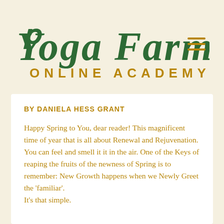[Figure (logo): Yoga Farm Online Academy logo — 'Yoga Farm' in decorative dark green serif italic font with swirl on Y, 'Online Academy' in golden/amber spaced sans-serif capitals below, with hamburger menu icon (three horizontal golden lines) at top right]
BY DANIELA HESS GRANT
Happy Spring to You, dear reader! This magnificent time of year that is all about Renewal and Rejuvenation. You can feel and smell it it in the air. One of the Keys of reaping the fruits of the newness of Spring is to remember: New Growth happens when we Newly Greet the 'familiar'.
It's that simple.